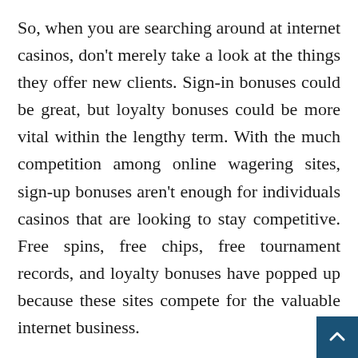So, when you are searching around at internet casinos, don't merely take a look at the things they offer new clients. Sign-in bonuses could be great, but loyalty bonuses could be more vital within the lengthy term. With the much competition among online wagering sites, sign-up bonuses aren't enough for individuals casinos that are looking to stay competitive. Free spins, free chips, free tournament records, and loyalty bonuses have popped up because these sites compete for the valuable internet business.
Ensure that you browse the conditions and terms for that various bonuses provided by a website prior to signing up. The terms usually vary among